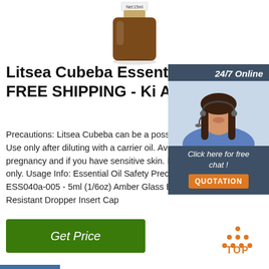[Figure (photo): Amber glass bottle with white label reading Net:15ml, product photo on white background]
Litsea Cubeba Essential Oil FREE SHIPPING - Ki Aroma
Precautions: Litsea Cubeba can be a possible skin sensitizer. Use only after diluting with a carrier oil. Avoid during pregnancy and if you have sensitive skin. For external use only. Usage Info: Essential Oil Safety Precautions. ESS040a-005 - 5ml (1/6oz) Amber Glass Bottle with Chemical Resistant Dropper Insert Cap
[Figure (illustration): Customer service chat widget showing a woman with headset, 24/7 Online label, Click here for free chat text, and QUOTATION button]
[Figure (other): Orange TOP button with dots icon for back-to-top navigation]